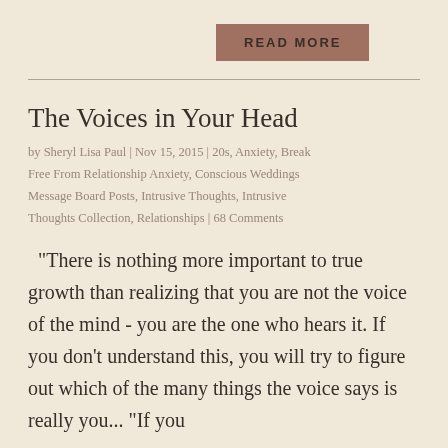[Figure (other): READ MORE button with brown/tan background]
by Sheryl Lisa Paul | Nov 15, 2015 | 20s, Anxiety, Break Free From Relationship Anxiety, Conscious Weddings Message Board Posts, Intrusive Thoughts, Intrusive Thoughts Collection, Relationships | 68 Comments
The Voices in Your Head
"There is nothing more important to true growth than realizing that you are not the voice of the mind - you are the one who hears it. If you don't understand this, you will try to figure out which of the many things the voice says is really you... "If you